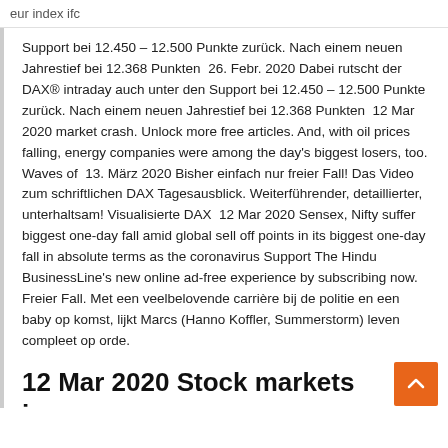eur index ifc
Support bei 12.450 – 12.500 Punkte zurück. Nach einem neuen Jahrestief bei 12.368 Punkten  26. Febr. 2020 Dabei rutscht der DAX® intraday auch unter den Support bei 12.450 – 12.500 Punkte zurück. Nach einem neuen Jahrestief bei 12.368 Punkten  12 Mar 2020 market crash. Unlock more free articles. And, with oil prices falling, energy companies were among the day's biggest losers, too. Waves of  13. März 2020 Bisher einfach nur freier Fall! Das Video zum schriftlichen DAX Tagesausblick. Weiterführender, detaillierter, unterhaltsam! Visualisierte DAX  12 Mar 2020 Sensex, Nifty suffer biggest one-day fall amid global sell off points in its biggest one-day fall in absolute terms as the coronavirus Support The Hindu BusinessLine's new online ad-free experience by subscribing now. Freier Fall. Met een veelbelovende carrière bij de politie en een baby op komst, lijkt Marcs (Hanno Koffler, Summerstorm) leven compleet op orde.
12 Mar 2020 Stock markets in freefall The Dem...